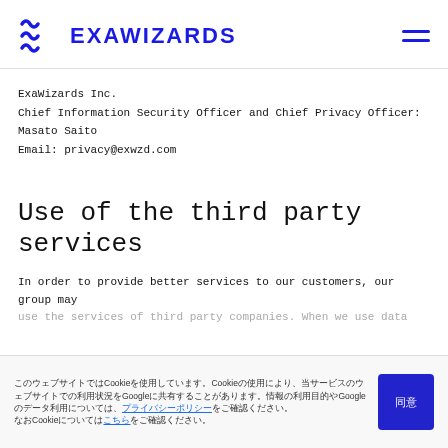EXAWIZARDS
ExaWizards Inc.
Chief Information Security Officer and Chief Privacy Officer:
Masato Saito
Email: privacy@exwzd.com
Use of the third party services
In order to provide better services to our customers, our group may
Cookie banner text in Japanese with Cookie policy link